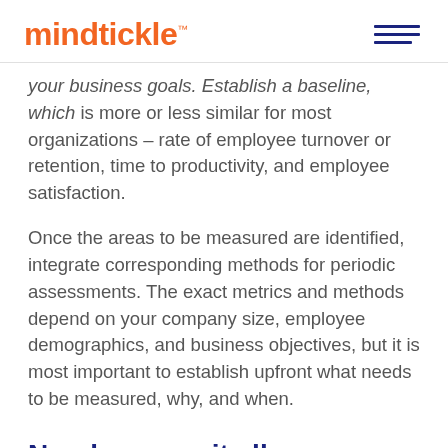mindtickle™
your business goals. Establish a baseline, which is more or less similar for most organizations – rate of employee turnover or retention, time to productivity, and employee satisfaction.
Once the areas to be measured are identified, integrate corresponding methods for periodic assessments. The exact metrics and methods depend on your company size, employee demographics, and business objectives, but it is most important to establish upfront what needs to be measured, why, and when.
Numbers say it all – Quantitative Metrics